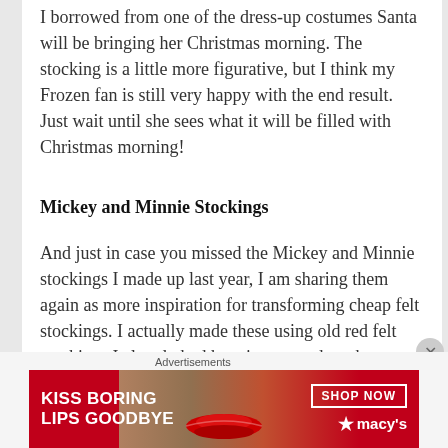I borrowed from one of the dress-up costumes Santa will be bringing her Christmas morning.  The stocking is a little more figurative, but I think my Frozen fan is still very happy with the end result.  Just wait until she sees what it will be filled with Christmas morning!
Mickey and Minnie Stockings
And just in case you missed the Mickey and Minnie stockings I made up last year, I am sharing them again as more inspiration for transforming cheap felt stockings.   I actually made these using old red felt stockings I already had hanging around my house so all they cost me was the price of the
Advertisements
[Figure (illustration): Macy's advertisement banner: red background with woman's face and red lips, text 'KISS BORING LIPS GOODBYE', 'SHOP NOW' button, and Macy's star logo]